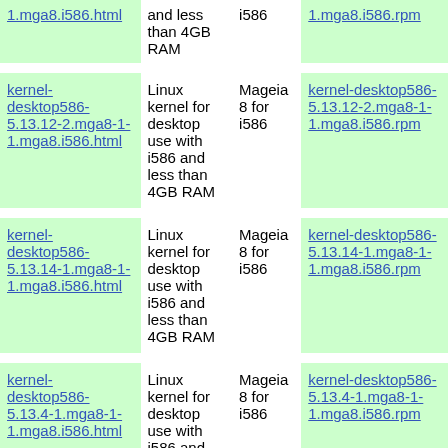| Package | Description | Arch | RPM |
| --- | --- | --- | --- |
| 1.mga8.i586.html | and less than 4GB RAM | i586 | 1.mga8.i586.rpm |
| kernel-desktop586-5.13.12-2.mga8-1-1.mga8.i586.html | Linux kernel for desktop use with i586 and less than 4GB RAM | Mageia 8 for i586 | kernel-desktop586-5.13.12-2.mga8-1-1.mga8.i586.rpm |
| kernel-desktop586-5.13.14-1.mga8-1-1.mga8.i586.html | Linux kernel for desktop use with i586 and less than 4GB RAM | Mageia 8 for i586 | kernel-desktop586-5.13.14-1.mga8-1-1.mga8.i586.rpm |
| kernel-desktop586-5.13.4-1.mga8-1-1.mga8.i586.html | Linux kernel for desktop use with i586 and less than 4GB RAM | Mageia 8 for i586 | kernel-desktop586-5.13.4-1.mga8-1-1.mga8.i586.rpm |
| kernel-desktop586-5.13.8-1.mga8-1- | Linux kernel for desktop use with i586 | Mageia 8 for | kernel-desktop586-5.13.8-1.mga8-1- |